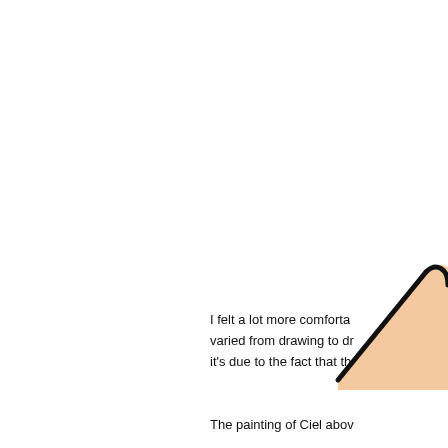[Figure (illustration): Partial illustration showing a peach/orange colored triangular or curved shape (appears to be part of a character or figure) in the bottom-right corner of the page, with a bold black curved outline.]
I felt a lot more comforta... varied from drawing to dr... it's due to the fact that th...
The painting of Ciel abov...